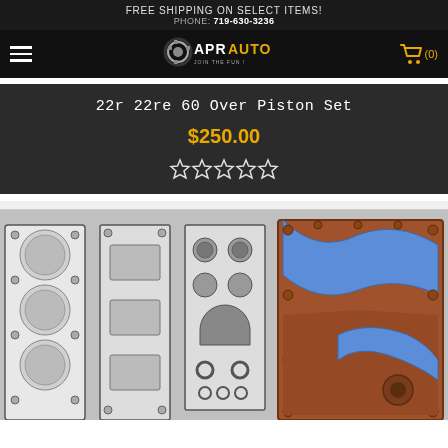FREE SHIPPING ON SELECT ITEMS!
PHONE: 719-630-3236
[Figure (logo): APR Auto logo with gear icon and tagline 'JOIN THE FUN!']
22r 22re 60 Over Piston Set
$250.00
[Figure (other): 5 empty/outline star rating icons]
[Figure (photo): Product photo showing engine gasket set components laid out on white background, including head gasket, intake/exhaust manifold gaskets, and various seals and o-rings]